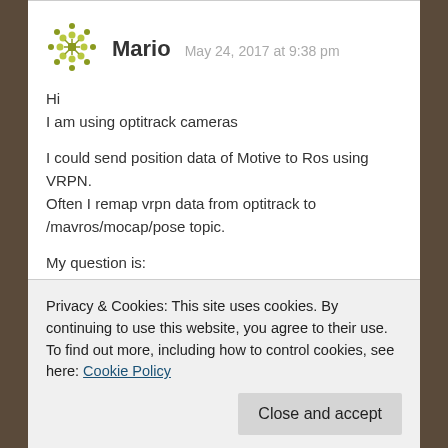[Figure (illustration): Green geometric snowflake/pattern avatar icon for user Mario]
Mario  May 24, 2017 at 9:38 pm
Hi
I am using optitrack cameras

I could send position data of Motive to Ros using VRPN.
Often I remap vrpn data from optitrack to /mavros/mocap/pose topic.

My question is:
Privacy & Cookies: This site uses cookies. By continuing to use this website, you agree to their use.
To find out more, including how to control cookies, see here: Cookie Policy
Close and accept